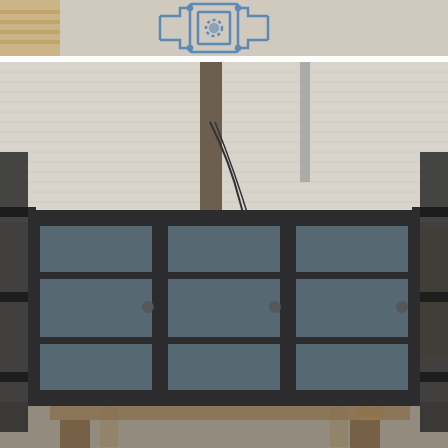[Figure (photo): Top portion showing a ceiling/roof area with a blue geometric/circuit-board style pattern or sticker on a light-colored surface.]
[Figure (photo): A large dark charcoal/anthracite grey triple-panel casement window frame with grid bars (Georgian bars) across each pane, photographed in a carpentry or joinery workshop. The workshop background shows OSB board walls, machinery, tools, a dartboard, blue industrial equipment, and wooden workbenches. The window frame is propped upright on timber in the foreground.]